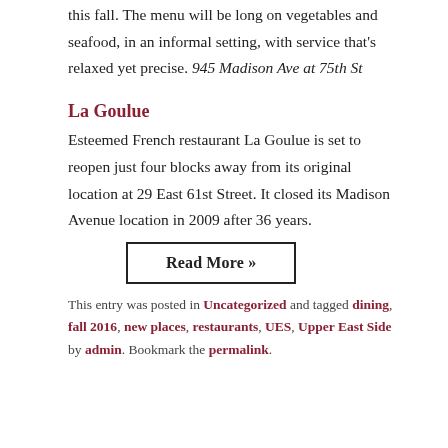this fall. The menu will be long on vegetables and seafood, in an informal setting, with service that’s relaxed yet precise. 945 Madison Ave at 75th St
La Goulue
Esteemed French restaurant La Goulue is set to reopen just four blocks away from its original location at 29 East 61st Street. It closed its Madison Avenue location in 2009 after 36 years.
Read More »
This entry was posted in Uncategorized and tagged dining, fall 2016, new places, restaurants, UES, Upper East Side by admin. Bookmark the permalink.